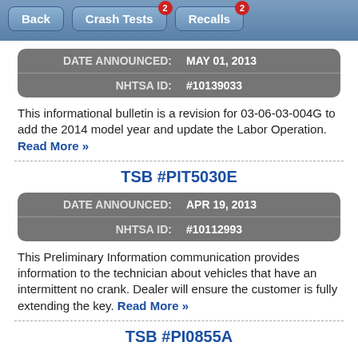Back | Crash Tests (2) | Recalls (2)
| DATE ANNOUNCED: | MAY 01, 2013 |
| --- | --- |
| NHTSA ID: | #10139033 |
This informational bulletin is a revision for 03-06-03-004G to add the 2014 model year and update the Labor Operation. Read More »
TSB #PIT5030E
| DATE ANNOUNCED: | APR 19, 2013 |
| --- | --- |
| NHTSA ID: | #10112993 |
This Preliminary Information communication provides information to the technician about vehicles that have an intermittent no crank. Dealer will ensure the customer is fully extending the key. Read More »
TSB #PI0855A